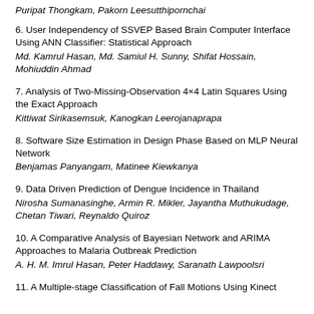Puripat Thongkam, Pakorn Leesutthipornchai
6. User Independency of SSVEP Based Brain Computer Interface Using ANN Classifier: Statistical Approach
Md. Kamrul Hasan, Md. Samiul H. Sunny, Shifat Hossain, Mohiuddin Ahmad
7. Analysis of Two-Missing-Observation 4×4 Latin Squares Using the Exact Approach
Kittiwat Sirikasemsuk, Kanogkan Leerojanaprapa
8. Software Size Estimation in Design Phase Based on MLP Neural Network
Benjamas Panyangam, Matinee Kiewkanya
9. Data Driven Prediction of Dengue Incidence in Thailand
Nirosha Sumanasinghe, Armin R. Mikler, Jayantha Muthukudage, Chetan Tiwari, Reynaldo Quiroz
10. A Comparative Analysis of Bayesian Network and ARIMA Approaches to Malaria Outbreak Prediction
A. H. M. Imrul Hasan, Peter Haddawy, Saranath Lawpoolsri
11. A Multiple-stage Classification of Fall Motions Using Kinect